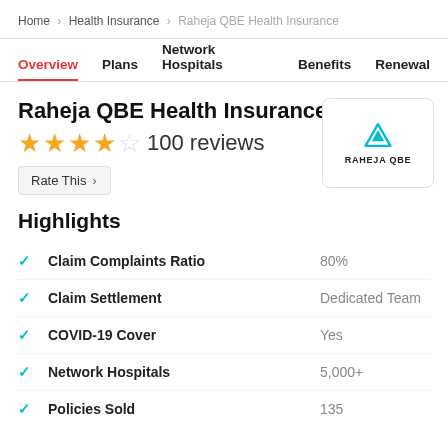Home > Health Insurance > Raheja QBE Health Insurance
Overview | Plans | Network Hospitals | Benefits | Renewal
Raheja QBE Health Insurance
★★★★☆ 100 reviews
Rate This >
[Figure (logo): Raheja QBE logo with teal triangle icon and text RAHEJA QBE]
Highlights
Claim Complaints Ratio — 80%
Claim Settlement — Dedicated Team
COVID-19 Cover — Yes
Network Hospitals — 5,000+
Policies Sold — 135